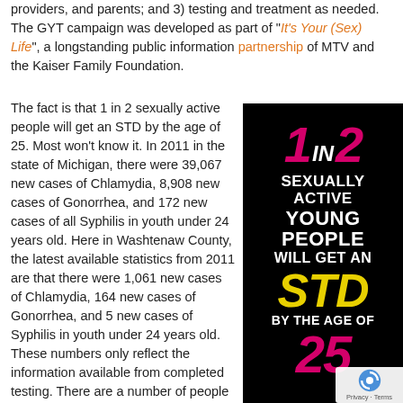providers, and parents; and 3) testing and treatment as needed. The GYT campaign was developed as part of "It's Your (Sex) Life", a longstanding public information partnership of MTV and the Kaiser Family Foundation.
The fact is that 1 in 2 sexually active people will get an STD by the age of 25. Most won't know it. In 2011 in the state of Michigan, there were 39,067 new cases of Chlamydia, 8,908 new cases of Gonorrhea, and 172 new cases of all Syphilis in youth under 24 years old. Here in Washtenaw County, the latest available statistics from 2011 are that there were 1,061 new cases of Chlamydia, 164 new cases of Gonorrhea, and 5 new cases of Syphilis in youth under 24 years old. These numbers only reflect the information available from completed testing. There are a number of people who are
[Figure (infographic): Black background infographic reading '1 IN 2 SEXUALLY ACTIVE YOUNG PEOPLE WILL GET AN STD BY THE AGE OF 25' with pink, white, and yellow text]